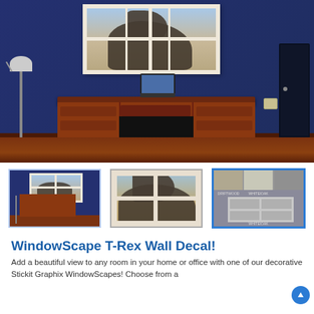[Figure (photo): Room scene with blue wall, wooden desk, laptop, floor lamp, and a T-Rex WindowScape wall decal above the desk showing a roaring T-Rex through a window frame.]
[Figure (photo): Thumbnail 1: Same room scene with wall decal]
[Figure (photo): Thumbnail 2: Close-up of T-Rex WindowScape decal]
[Figure (photo): Thumbnail 3: Color/style options for the window frame decal]
WindowScape T-Rex Wall Decal!
Add a beautiful view to any room in your home or office with one of our decorative Stickit Graphix WindowScapes! Choose from a